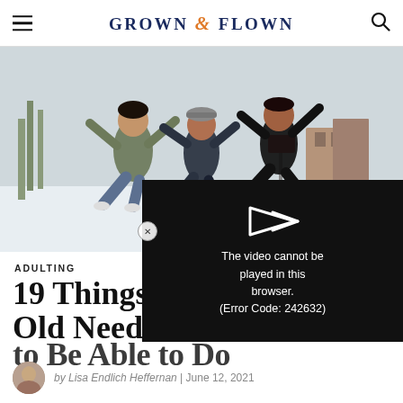GROWN & FLOWN
[Figure (photo): Three young men jumping joyfully outdoors in a snowy setting, arms raised, smiling.]
[Figure (screenshot): Video player error overlay on black background with play icon and text: The video cannot be played in this browser. (Error Code: 242632)]
ADULTING
19 Things Every 18-Year-Old Needs to Be Able to Do
by Lisa Endlich Heffernan | June 12, 2021